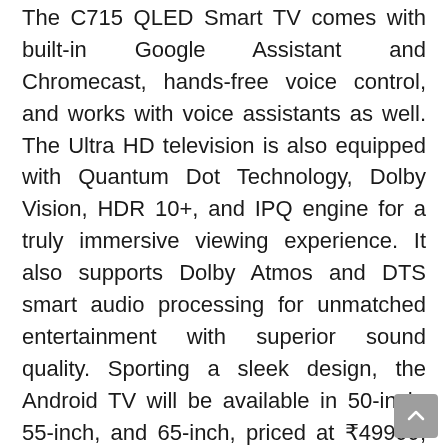The C715 QLED Smart TV comes with built-in Google Assistant and Chromecast, hands-free voice control, and works with voice assistants as well. The Ultra HD television is also equipped with Quantum Dot Technology, Dolby Vision, HDR 10+, and IPQ engine for a truly immersive viewing experience. It also supports Dolby Atmos and DTS smart audio processing for unmatched entertainment with superior sound quality. Sporting a sleek design, the Android TV will be available in 50-inch, 55-inch, and 65-inch, priced at ₹49999; ₹56999; and ₹88499 respectively.
C815 4K QLED TV
TCL's C815 4K QLED Series Android Smart TV also